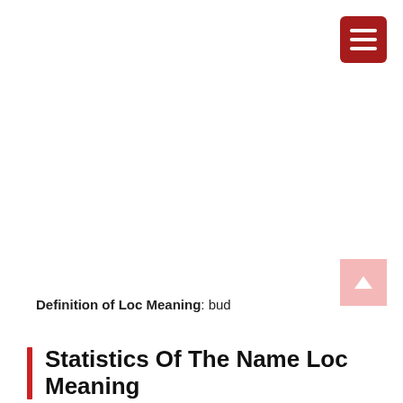[Figure (other): Dark red hamburger menu button in top-right corner with three white horizontal bars]
[Figure (other): Light pink scroll-to-top button in right side with upward arrow]
Definition of Loc Meaning: bud
Statistics Of The Name Loc Meaning